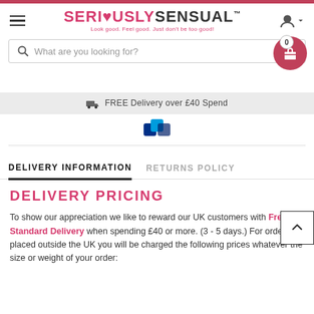SERIOUSLYSENSUAL™ — Look good. Feel good. Just don't be too good!
What are you looking for?
FREE Delivery over £40 Spend
DELIVERY INFORMATION
RETURNS POLICY
DELIVERY PRICING
To show our appreciation we like to reward our UK customers with Free UK Standard Delivery when spending £40 or more. (3 - 5 days.) For orders placed outside the UK you will be charged the following prices whatever the size or weight of your order: